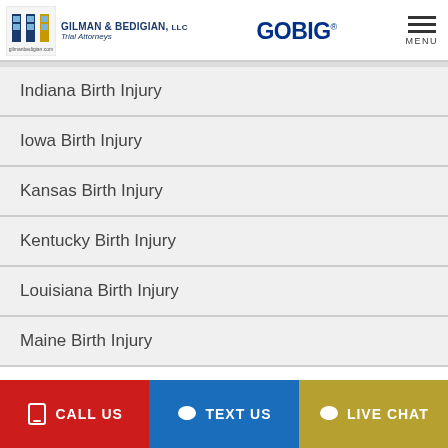Gilman & Bedigian, LLC Trial Attorneys | GOBIG | MENU
Indiana Birth Injury
Iowa Birth Injury
Kansas Birth Injury
Kentucky Birth Injury
Louisiana Birth Injury
Maine Birth Injury
CALL US | TEXT US | LIVE CHAT